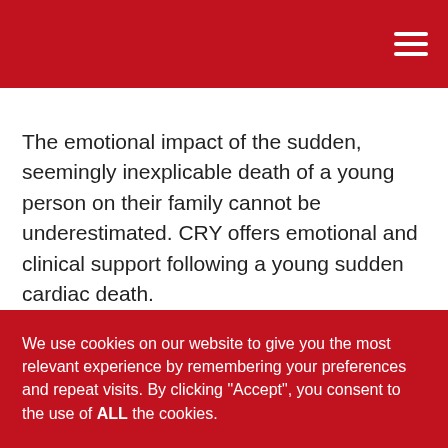The emotional impact of the sudden, seemingly inexplicable death of a young person on their family cannot be underestimated. CRY offers emotional and clinical support following a young sudden cardiac death.
[Figure (other): Gray banner with large white semi-transparent text reading 'Donate to support CRY']
We use cookies on our website to give you the most relevant experience by remembering your preferences and repeat visits. By clicking "Accept", you consent to the use of ALL the cookies.
Cookie settings
ACCEPT